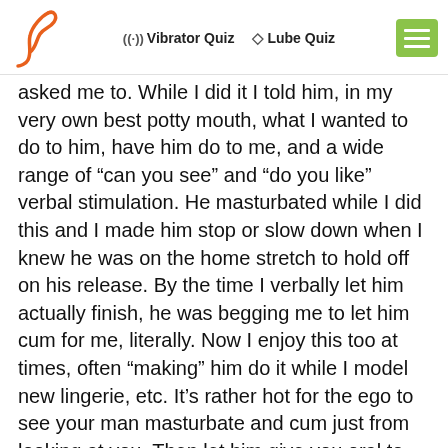Vibrator Quiz | Lube Quiz
asked me to. While I did it I told him, in my very own best potty mouth, what I wanted to do to him, have him do to me, and a wide range of “can you see” and “do you like” verbal stimulation. He masturbated while I did this and I made him stop or slow down when I knew he was on the home stretch to hold off on his release. By the time I verbally let him actually finish, he was begging me to let him cum for me, literally. Now I enjoy this too at times, often “making” him do it while I model new lingerie, etc. It’s rather hot for the ego to see your man masturbate and cum just from looking at you. Then let him give you oral to finish you both off as a couple.
Your guy wants porn ?? Give it to him like I do. YOU be his porn star. If he’s into other